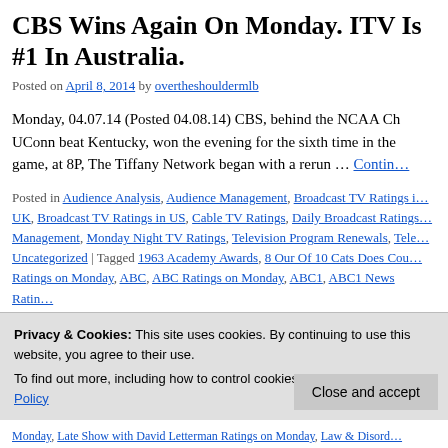CBS Wins Again On Monday. ITV Is #1 In Australia.
Posted on April 8, 2014 by overtheshouldermlb
Monday, 04.07.14 (Posted 04.08.14) CBS, behind the NCAA Ch... UConn beat Kentucky, won the evening for the sixth time in the... game, at 8P, The Tiffany Network began with a rerun … Contin…
Posted in Audience Analysis, Audience Management, Broadcast TV Ratings in UK, Broadcast TV Ratings in US, Cable TV Ratings, Daily Broadcast Ratings Management, Monday Night TV Ratings, Television Program Renewals, Tele… Uncategorized | Tagged 1963 Academy Awards, 8 Our Of 10 Cats Does Cou… Ratings on Monday, ABC, ABC Ratings on Monday, ABC1, ABC1 News Ratin… Animal Planet Ratings on Sunday, Audience Analysis, Audience Behavior, Au… on Monday, Bang Goes The Theory Ratings on Monday, BBC One, BBC One… Ratings on Monday, Bones Ratings on Monday, Business Boomers Ratings o…
Privacy & Cookies: This site uses cookies. By continuing to use this website, you agree to their use. To find out more, including how to control cookies, see here: Our Cookie Policy
Monday, Late Show with David Letterman Ratings on Monday, Law & Disord…